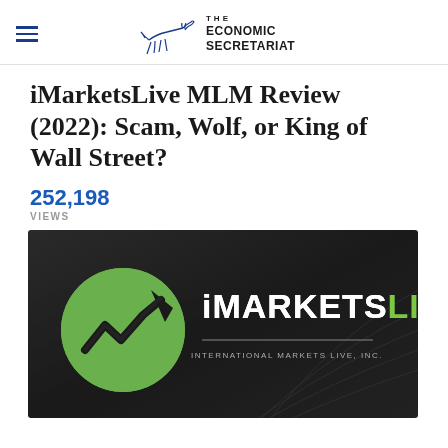THE ECONOMIC SECRETARIAT
iMarketsLive MLM Review (2022): Scam, Wolf, or King of Wall Street?
252,198 VIEWS
[Figure (logo): iMarketsLive brand logo on dark background with green circle icon containing a chart arrow and company name 'iMARKETSLIVE' with 'INTERNATIONAL MARKETS LIVE, INC.' subtitle]